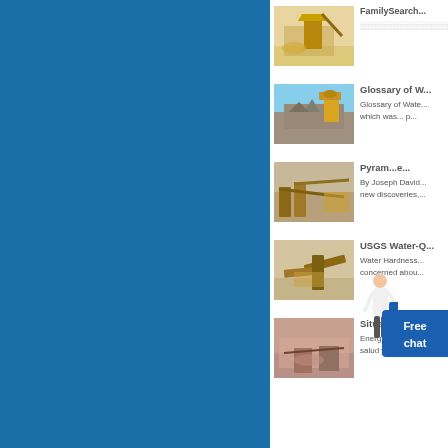[Figure (photo): Mining crushing equipment in desert landscape, yellow machinery]
FamilySearch...
[Figure (photo): Open pit mining with excavator in rocky terrain, blue sky]
Glossary of W...
Glossary of Wate... which was... p...
[Figure (photo): Aerial view of mining conveyors and processing equipment]
Pyram...e...
By Joseph David... new discoveries,...
[Figure (photo): Industrial mining conveyor belt equipment on sandy terrain]
USGS Water-Q...
Water Hardness... concerned abou...
[Figure (photo): Open air mining industrial site with machinery in pink/red landscape]
Situación de la...
Energía y socied... salud y a la dura...